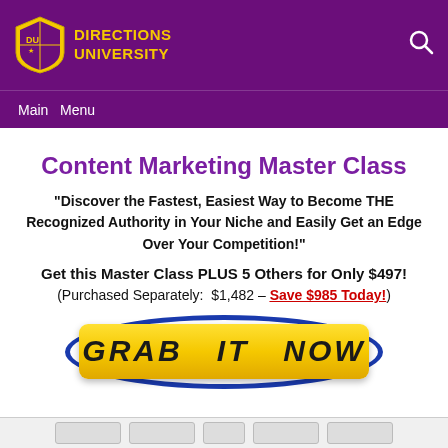Directions University
Main  Menu
Content Marketing Master Class
“Discover the Fastest, Easiest Way to Become THE Recognized Authority in Your Niche and Easily Get an Edge Over Your Competition!”
Get this Master Class PLUS 5 Others for Only $497!
(Purchased Separately:  $1,482 – Save $985 Today!)
[Figure (other): Yellow GRAB IT NOW button with blue oval border, call-to-action button]